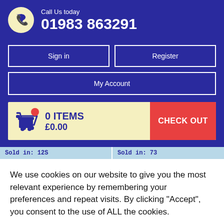Call Us today 01983 863291
Sign in
Register
My Account
0 ITEMS £0.00
CHECK OUT
Sold in: 12S
Sold in: 73
We use cookies on our website to give you the most relevant experience by remembering your preferences and repeat visits. By clicking “Accept”, you consent to the use of ALL the cookies.
Cookie settings
ACCEPT